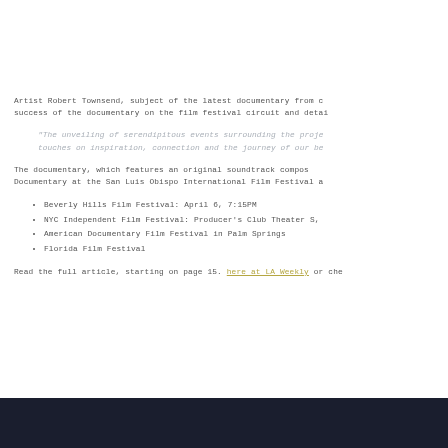Artist Robert Townsend, subject of the latest documentary from c success of the documentary on the film festival circuit and detai
“The unveiling of serendipitous events surrounding the proje touches on inspiration, connection and the journey of our be
The documentary, which features an original soundtrack compos Documentary at the San Luis Obispo International Film Festival a
Beverly Hills Film Festival: April 6, 7:15PM
NYC Independent Film Festival: Producer’s Club Theater S,
American Documentary Film Festival in Palm Springs
Florida Film Festival
Read the full article, starting on page 15. here at LA Weekly or che